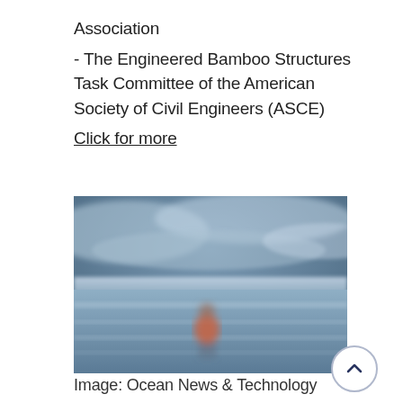Association
- The Engineered Bamboo Structures Task Committee of the American Society of Civil Engineers (ASCE)
Click for more
[Figure (photo): A blurry outdoor scene showing a person wearing a red/orange top standing on what appears to be a beach or shore with a grey/blue sky and water in the background.]
Image:  Ocean News & Technology